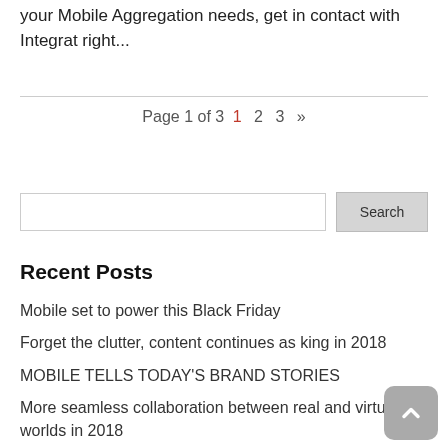your Mobile Aggregation needs, get in contact with Integrat right...
Page 1 of 3   1   2   3   »
Recent Posts
Mobile set to power this Black Friday
Forget the clutter, content continues as king in 2018
MOBILE TELLS TODAY'S BRAND STORIES
More seamless collaboration between real and virtual worlds in 2018